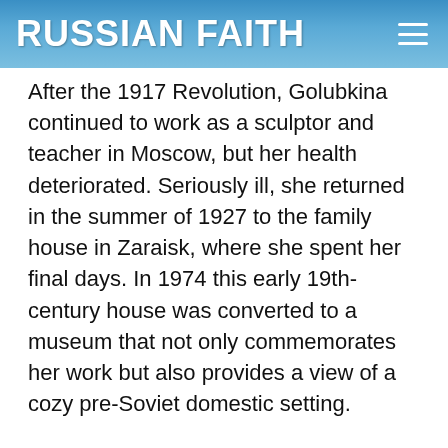RUSSIAN FAITH
After the 1917 Revolution, Golubkina continued to work as a sculptor and teacher in Moscow, but her health deteriorated. Seriously ill, she returned in the summer of 1927 to the family house in Zaraisk, where she spent her final days. In 1974 this early 19th-century house was converted to a museum that not only commemorates her work but also provides a view of a cozy pre-Soviet domestic setting.
Today Zaraisk is a regional center confronted with the challenge of preserving its valuable architectural heritage in difficult economic conditions. Rich in associations with history and culture, Zaraisk forms an essential part of